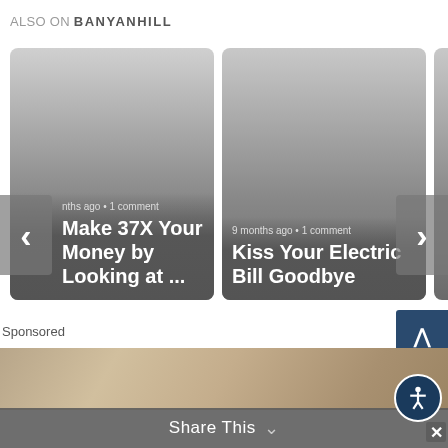ALSO ON BANYANHILL
[Figure (screenshot): Carousel card: article thumbnail with text overlay showing '9 months ago • 1 comment' and title 'Make 37X Your Money by Looking at ...']
[Figure (screenshot): Carousel card: article thumbnail with text overlay showing '9 months ago • 1 comment' and title 'Kiss Your Electric Bill Goodbye']
Sponsored
[Figure (photo): Partial photo of a textured stone/stucco wall with a circular hook or ring visible, in beige/tan tones]
Share This